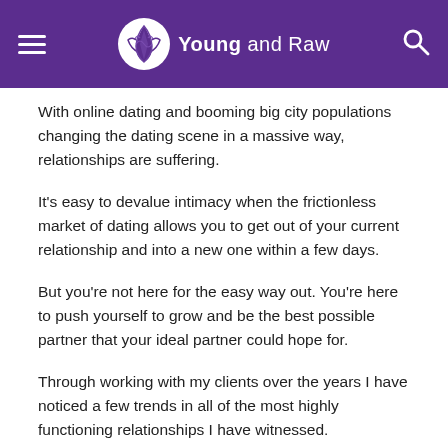Young and Raw
With online dating and booming big city populations changing the dating scene in a massive way, relationships are suffering.
It's easy to devalue intimacy when the frictionless market of dating allows you to get out of your current relationship and into a new one within a few days.
But you're not here for the easy way out.  You're here to push yourself to grow and be the best possible partner that your ideal partner could hope for.
Through working with my clients over the years I have noticed a few trends in all of the most highly functioning relationships I have witnessed.